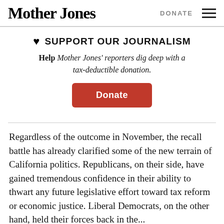Mother Jones | DONATE
♥ SUPPORT OUR JOURNALISM
Help Mother Jones' reporters dig deep with a tax-deductible donation.
[Figure (other): Orange rounded-rectangle donate button with white text 'Donate']
Regardless of the outcome in November, the recall battle has already clarified some of the new terrain of California politics. Republicans, on their side, have gained tremendous confidence in their ability to thwart any future legislative effort toward tax reform or economic justice. Liberal Democrats, on the other hand, held their forces back in the...